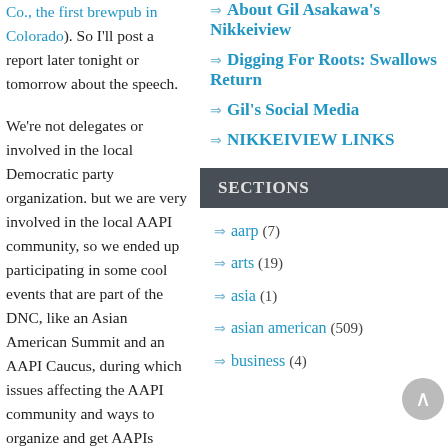Co., the first brewpub in Colorado). So I'll post a report later tonight or tomorrow about the speech.
We're not delegates or involved in the local Democratic party organization. but we are very involved in the local AAPI community, so we ended up participating in some cool events that are part of the DNC, like an Asian American Summit and an AAPI Caucus, during which issues affecting the AAPI community and ways to organize and get AAPIs incolved in politics were discussed. I was also
About Gil Asakawa's Nikkeiview
Digging For Roots: Swallows Return
Gil's Social Media
NIKKEIVIEW LINKS
SECTIONS
aarp (7)
arts (19)
asia (1)
asian american (509)
business (4)